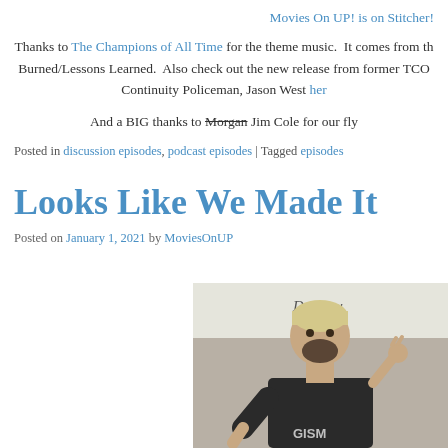Movies On UP! is on Stitcher!
Thanks to The Champions of All Time for the theme music. It comes from th Burned/Lessons Learned. Also check out the new release from former TCO Continuity Policeman, Jason West her
And a BIG thanks to Morgan Jim Cole for our fly
Posted in discussion episodes, podcast episodes | Tagged episodes
Looks Like We Made It
Posted on January 1, 2021 by MoviesOnUP
[Figure (photo): A man with bleached hair and beard wearing a dark sleeveless shirt with 'GISM' text, standing in front of a whiteboard that reads 'Do Now.' He appears to be gesturing with his hand.]